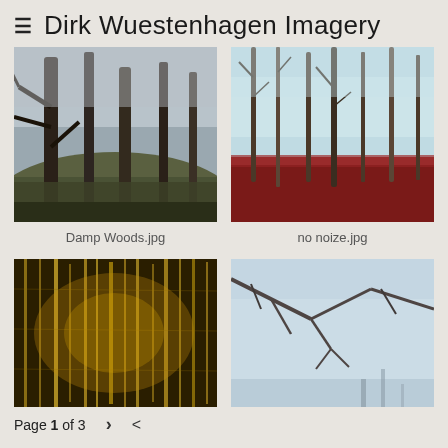Dirk Wuestenhagen Imagery
[Figure (photo): Misty dark forest with tall pine trees on a hillside, foggy atmospheric scene in muted brown-grey tones]
Damp Woods.jpg
[Figure (photo): Foggy forest with tall thin bare trees and bright red/crimson fallen leaves on the ground, blue-teal atmospheric haze]
no noize.jpg
[Figure (photo): Close-up texture of vertical tree bark or wood grain in deep golden yellow tones against dark background]
[Figure (photo): Snowy winter park scene with bare tree branches in foreground, foggy misty background, person walking in the distance, blue-grey tones]
Page 1 of 3